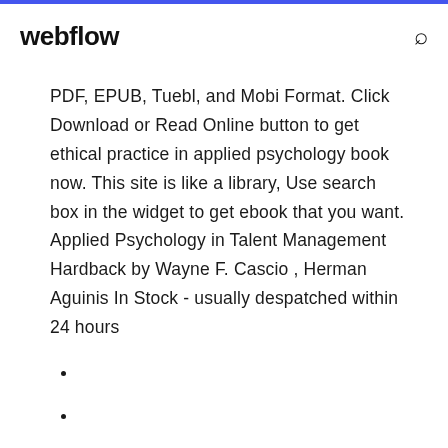webflow
PDF, EPUB, Tuebl, and Mobi Format. Click Download or Read Online button to get ethical practice in applied psychology book now. This site is like a library, Use search box in the widget to get ebook that you want. Applied Psychology in Talent Management Hardback by Wayne F. Cascio , Herman Aguinis In Stock - usually despatched within 24 hours